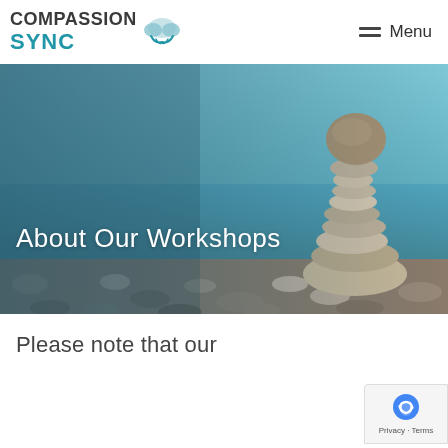COMPASSION SYNC [logo] Menu
[Figure (photo): Hero banner image showing a stack of balanced stones/pebbles on a rocky beach with a blue ocean and sky in the background. Overlaid text reads 'About Our Workshops' in white.]
About Our Workshops
Please note that our
[Figure (other): Google reCAPTCHA / Privacy & Terms badge in bottom right corner]